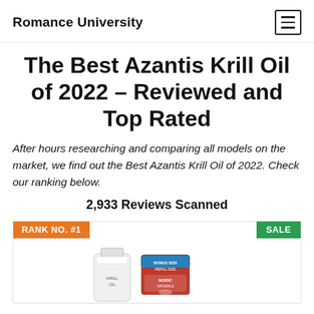Romance University
The Best Azantis Krill Oil of 2022 – Reviewed and Top Rated
After hours researching and comparing all models on the market, we find out the Best Azantis Krill Oil of 2022. Check our ranking below.
2,933 Reviews Scanned
[Figure (photo): Product card showing RANK NO. #1 badge (orange) on left and SALE badge (green) on right, with product images below including Nordic Naturals krill oil bottles]